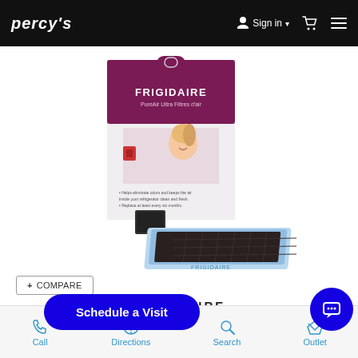PERCY'S   Sign in   [cart]   [menu]
[Figure (photo): Frigidaire PureAir Ultra air filter product photo showing packaging box with purple top and white bottom featuring a woman smiling, along with the filter itself in a blue tray]
+ COMPARE
FRIGIDAIRE
PureAir Ultra Air Filter
Schedule a Visit
Call   Directions   Search   Outlet